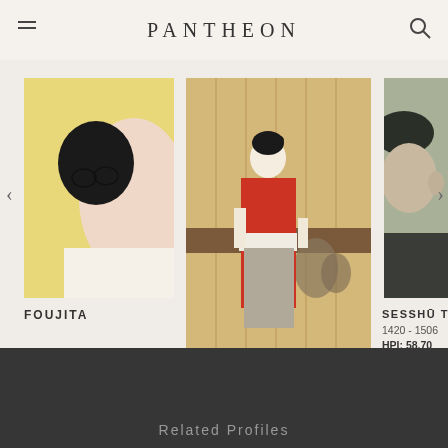PANTHEON
[Figure (photo): Partial view of a painting by Foujita, showing a figure with yellow head covering and glasses]
FOUJITA
[Figure (photo): Painting by Suzuki Harunobu showing a Japanese woman in red kimono standing in an interior scene with shadowy figures behind]
SUZUKI HARUNOBU
1725 - 1770
HPI: 59.42
Rank: 5
[Figure (photo): Partial view of a painting by Sesshū Tōyō, showing a figure with dark hat against muted background]
SESSHŪ TŌ
1420 - 1506
HPI: 58.70
Rank: 6
Related Profiles